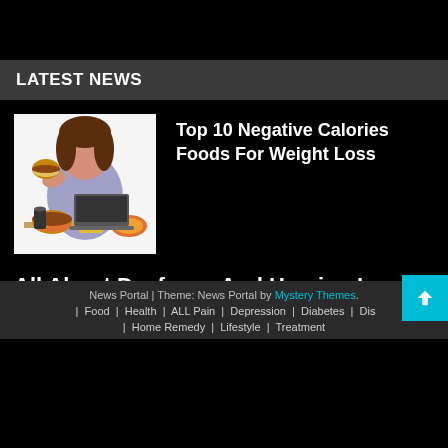LATEST NEWS
[Figure (photo): Overweight woman eating a burger while using a laptop, surrounded by fast food including burgers, fries, and pizza]
Top 10 Negative Calories Foods For Weight Loss
All About Deafness And Hearing Loss You Need To Know
News Portal | Theme: News Portal by Mystery Themes. | Food | Health | ALL Pain | Depression | Diabetes | Dis... | Home Remedy | Lifestyle | Treatment